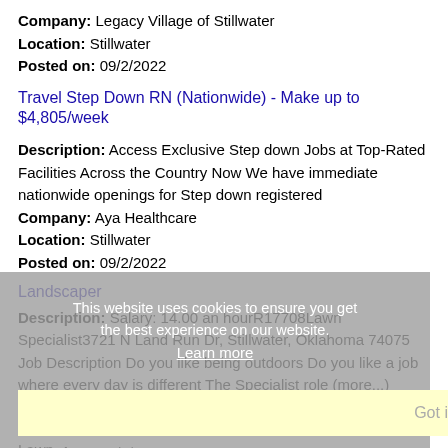Company: Legacy Village of Stillwater
Location: Stillwater
Posted on: 09/2/2022
Travel Step Down RN (Nationwide) - Make up to $4,805/week
Description: Access Exclusive Step down Jobs at Top-Rated Facilities Across the Country Now We have immediate nationwide openings for Step down registered
Company: Aya Healthcare
Location: Stillwater
Posted on: 09/2/2022
Landscaper
Description: Salary: 14.00 an hourR17708Lawn Specialist3721 N Land Run Dr, Stillwater, Oklahoma 74075 Job Description Do you like being outdoors Do you like a job where every day is different The Specialist role (more...)
Company: TruGreen
Location: Stillwater
Posted on: 09/2/2022
Lawn Specialist
Description: Salary: hr hr 14.00 an hour hr hr R17708 hr Lawn